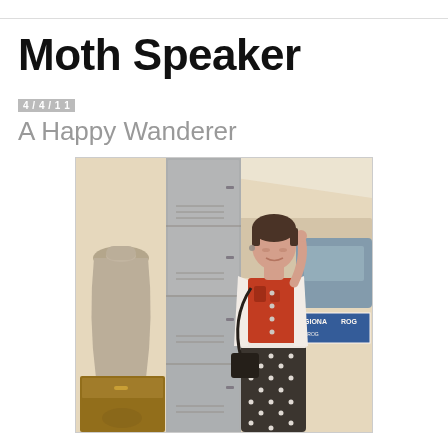Moth Speaker
4/4/11
A Happy Wanderer
[Figure (photo): Vintage-toned photograph of a young woman with short dark hair standing at an outdoor flea market or antique fair, wearing a white blazer over a red patterned top and a black and white polka dot skirt with a white belt and black crossbody bag. Behind her are tall gray metal lockers, a large gray ceramic jug on a wooden cabinet, and various market stalls in the background.]